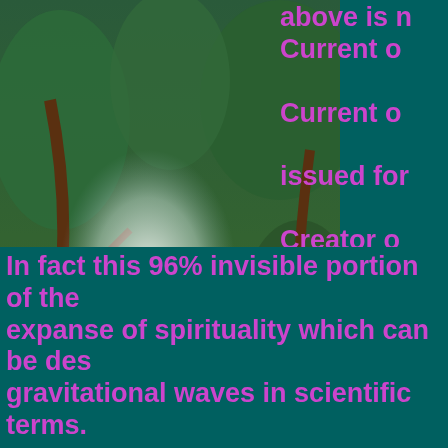[Figure (illustration): Hindu spiritual illustration showing Vishnu standing on a lotus flower with multiple arms, wearing golden garments, and a meditating sage/yogi sitting in the background, surrounded by a lush forest scene.]
above is n Current o Current o issued for Creator o later on p forces. Th these day constitute universe Only 4% known to
In fact this 96% invisible portion of the expanse of spirituality which can be des gravitational waves in scientific terms.